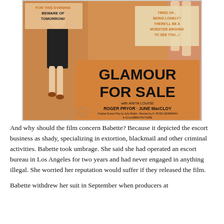[Figure (illustration): Movie poster for 'Glamour for Sale', a Columbia Picture. Orange background with text: 'FOR THIS EVENING BEWARE OF TOMORROW!' and 'TIRED OF... BEING LONELY? THERE'LL BE A MOBSTER AROUND TO SEE YOU...!' Large title text 'GLAMOUR FOR SALE' with cast: 'WITH ANITA LOUISE ROGER PRYOR · JUNE MacCLOY'. Original Screen Play by John Bright. Directed by D. Ross Lederman. A Columbia Picture. Features illustrated women figures.]
And why should the film concern Babette? Because it depicted the escort business as shady, specializing in extortion, blackmail and other criminal activities. Babette took umbrage. She said she had operated an escort bureau in Los Angeles for two years and had never engaged in anything illegal. She worried her reputation would suffer if they released the film.
Babette withdrew her suit in September when producers at